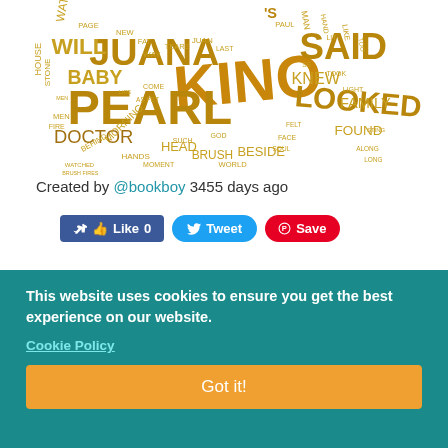[Figure (other): Word cloud from 'The Pearl' by Steinbeck. Words include KINO, PEARL, JUANA, SAID, LOOKED, WILL, DOCTOR, BABY, HOUSE, WATER, BRUSH, HEAD, KNEW, FOUND, WORLD, BESIDE, BEHIND, among others in varying sizes and golden/brown colors.]
Created by @bookboy 3455 days ago
Like 0   Tweet   Save
This website uses cookies to ensure you get the best experience on our website.
Cookie Policy
Got it!